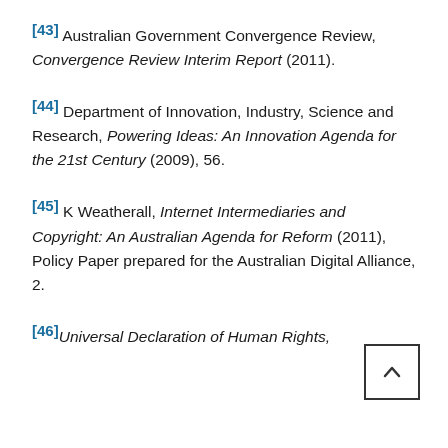[43] Australian Government Convergence Review, Convergence Review Interim Report (2011).
[44] Department of Innovation, Industry, Science and Research, Powering Ideas: An Innovation Agenda for the 21st Century (2009), 56.
[45] K Weatherall, Internet Intermediaries and Copyright: An Australian Agenda for Reform (2011), Policy Paper prepared for the Australian Digital Alliance, 2.
[46] Universal Declaration of Human Rights,